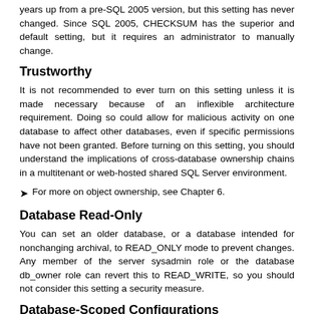years up from a pre-SQL 2005 version, but this setting has never changed. Since SQL 2005, CHECKSUM has the superior and default setting, but it requires an administrator to manually change.
Trustworthy
It is not recommended to ever turn on this setting unless it is made necessary because of an inflexible architecture requirement. Doing so could allow for malicious activity on one database to affect other databases, even if specific permissions have not been granted. Before turning on this setting, you should understand the implications of cross-database ownership chains in a multitenant or web-hosted shared SQL Server environment.
➤ For more on object ownership, see Chapter 6.
Database Read-Only
You can set an older database, or a database intended for nonchanging archival, to READ_ONLY mode to prevent changes. Any member of the server sysadmin role or the database db_owner role can revert this to READ_WRITE, so you should not consider this setting a security measure.
Database-Scoped Configurations
First introduced in SQL Server 2016 (and also in Azure SQL Database v12), Database-Scoped Configurations are a set of options previously available only at the server or individual query, such as Max Degree of Parallelism (MaxDOP). You can now change settings easily via database